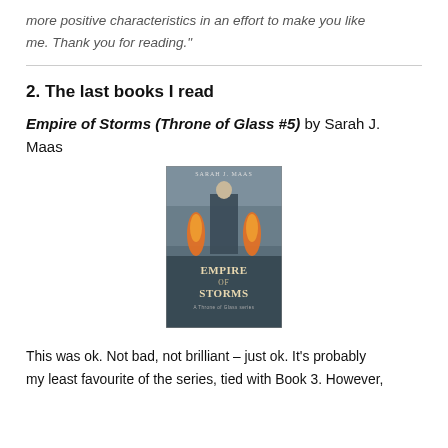more positive characteristics in an effort to make you like me. Thank you for reading."
2. The last books I read
Empire of Storms (Throne of Glass #5) by Sarah J. Maas
[Figure (photo): Book cover of Empire of Storms by Sarah J. Maas, showing a figure with flames and stormy background with the title 'Empire of Storms' and author name 'Sarah J. Maas' at the top.]
This was ok. Not bad, not brilliant – just ok. It's probably my least favourite of the series, tied with Book 3. However,